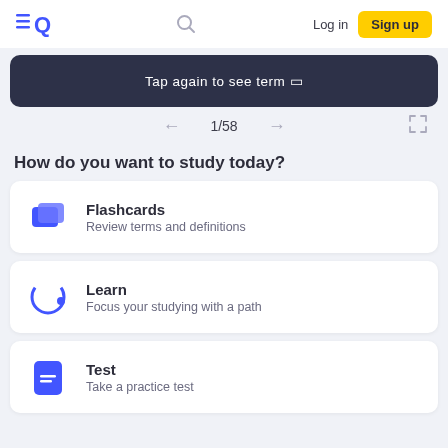EQ — Log in — Sign up
Tap again to see term 🔲
1/58
How do you want to study today?
Flashcards — Review terms and definitions
Learn — Focus your studying with a path
Test — Take a practice test